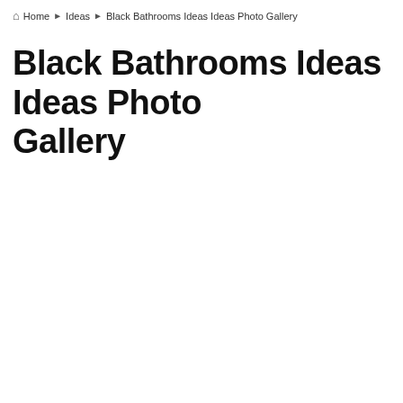Home ▸ Ideas ▸ Black Bathrooms Ideas Ideas Photo Gallery
Black Bathrooms Ideas Ideas Photo Gallery